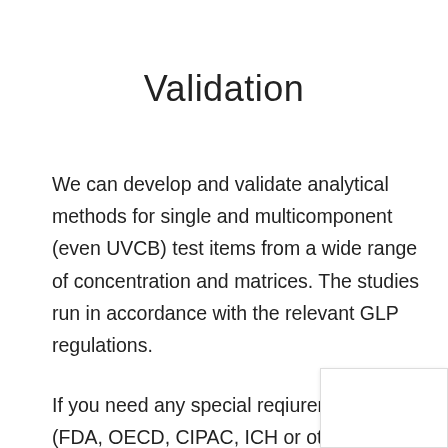Validation
We can develop and validate analytical methods for single and multicomponent (even UVCB) test items from a wide range of concentration and matrices. The studies run in accordance with the relevant GLP regulations.
If you need any special reqiurements (FDA, OECD, CIPAC, ICH or others), please contact us